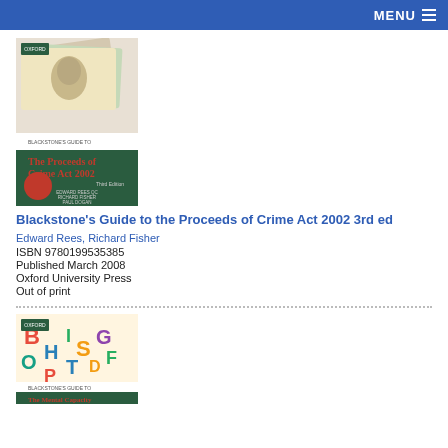MENU
[Figure (illustration): Book cover: Blackstone's Guide to The Proceeds of Crime Act 2002, Third Edition. Authors: Edward Rees QC, Richard Fisher, Paul Dogan. Oxford University Press. Cover shows currency notes.]
Blackstone's Guide to the Proceeds of Crime Act 2002 3rd ed
Edward Rees, Richard Fisher
ISBN 9780199535385
Published March 2008
Oxford University Press
Out of print
[Figure (illustration): Book cover: Blackstone's Guide to The Mental Capacity Act. Oxford University Press. Cover shows colorful alphabet letters.]